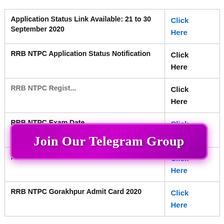| Description | Link |
| --- | --- |
| Application Status Link Available: 21 to 30 September 2020 | Click Here |
| RRB NTPC Application Status Notification | Click Here |
| RRB NTPC [partially obscured] | Click Here |
| RRB NTPC Exam Date | Click Here |
| RRB NTPC Chennai Admit Card 2020 | Click Here |
| RRB NTPC Gorakhpur Admit Card 2020 | Click Here |
[Figure (infographic): Purple button overlay with text 'Join Our Telegram Group' in white cursive font on a magenta/purple gradient background with rounded corners]